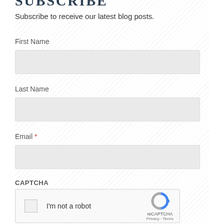SUBSCRIBE
Subscribe to receive our latest blog posts.
First Name
[Figure (other): Empty text input field for First Name]
Last Name
[Figure (other): Empty text input field for Last Name]
Email *
[Figure (other): Empty text input field for Email]
CAPTCHA
[Figure (other): reCAPTCHA widget with checkbox and 'I'm not a robot' text, reCAPTCHA logo, Privacy and Terms links]